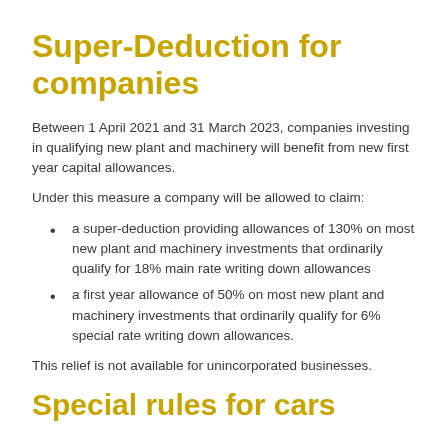Super-Deduction for companies
Between 1 April 2021 and 31 March 2023, companies investing in qualifying new plant and machinery will benefit from new first year capital allowances.
Under this measure a company will be allowed to claim:
a super-deduction providing allowances of 130% on most new plant and machinery investments that ordinarily qualify for 18% main rate writing down allowances
a first year allowance of 50% on most new plant and machinery investments that ordinarily qualify for 6% special rate writing down allowances.
This relief is not available for unincorporated businesses.
Special rules for cars